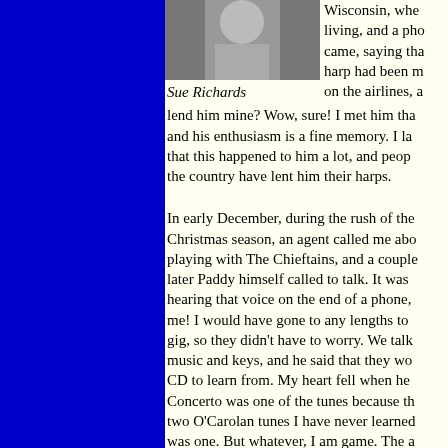[Figure (photo): Black and white photo of Sue Richards]
Sue Richards
Wisconsin, whe living, and a pho came, saying tha harp had been m on the airlines, a lend him mine? Wow, sure! I met him tha and his enthusiasm is a fine memory. I la that this happened to him a lot, and peop the country have lent him their harps.
In early December, during the rush of the Christmas season, an agent called me abo playing with The Chieftains, and a couple later Paddy himself called to talk. It was hearing that voice on the end of a phone, me! I would have gone to any lengths to gig, so they didn't have to worry. We talk music and keys, and he said that they wo CD to learn from. My heart fell when he Concerto was one of the tunes because th two O'Carolan tunes I have never learned was one. But whatever, I am game. The a me they had been given a list of AHS pe harpists in each city. I only got the job be harpist called in DC happened to know a me. I told the agent, who was in Canada